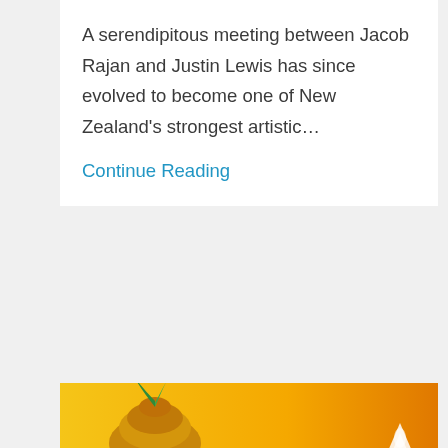A serendipitous meeting between Jacob Rajan and Justin Lewis has since evolved to become one of New Zealand's strongest artistic…
Continue Reading
[Figure (illustration): A banner image with a yellow-to-orange gradient background, featuring an illustrated character wearing a blue face with an orange/golden turban with a green feather, and a white pointed/rocket shape beside it.]
AN IMPRESSIVE 2022 PROGRAMME TO MARK A